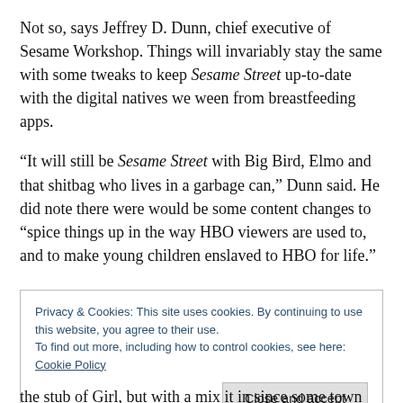Not so, says Jeffrey D. Dunn, chief executive of Sesame Workshop. Things will invariably stay the same with some tweaks to keep Sesame Street up-to-date with the digital natives we ween from breastfeeding apps.
“It will still be Sesame Street with Big Bird, Elmo and that shitbag who lives in a garbage can,” Dunn said. He did note there were would be some content changes to “spice things up in the way HBO viewers are used to, and to make young children enslaved to HBO for life.”
Privacy & Cookies: This site uses cookies. By continuing to use this website, you agree to their use.
To find out more, including how to control cookies, see here: Cookie Policy
Close and accept
the stub of Girl, but with a mix it in since some town and